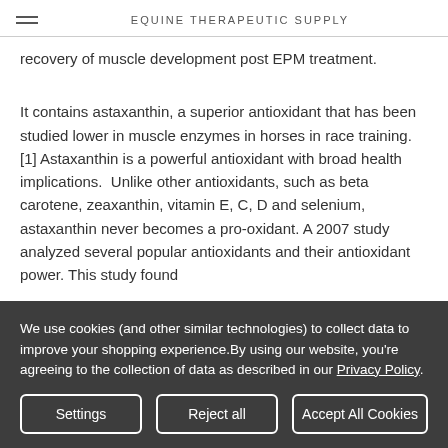EQUINE THERAPEUTIC SUPPLY
recovery of muscle development post EPM treatment.
It contains astaxanthin, a superior antioxidant that has been studied lower in muscle enzymes in horses in race training. [1] Astaxanthin is a powerful antioxidant with broad health implications.  Unlike other antioxidants, such as beta carotene, zeaxanthin, vitamin E, C, D and selenium, astaxanthin never becomes a pro-oxidant. A 2007 study analyzed several popular antioxidants and their antioxidant power. This study found
We use cookies (and other similar technologies) to collect data to improve your shopping experience.By using our website, you're agreeing to the collection of data as described in our Privacy Policy.
Settings | Reject all | Accept All Cookies